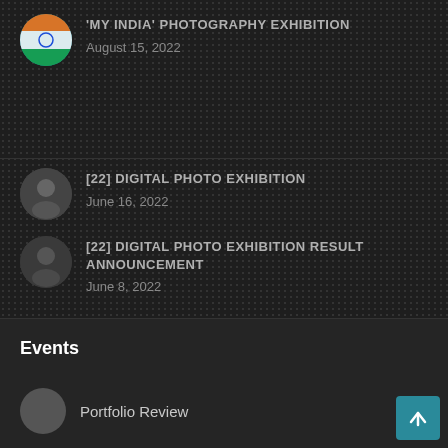'MY INDIA' PHOTOGRAPHY EXHIBITION — August 15, 2022
[22] DIGITAL PHOTO EXHIBITION — June 16, 2022
[22] DIGITAL PHOTO EXHIBITION RESULT ANNOUNCEMENT — June 8, 2022
Events
Portfolio Review